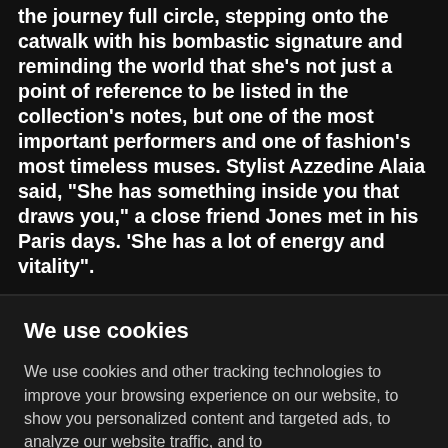the journey full circle, stepping onto the catwalk with his bombastic signature and reminding the world that she's not just a point of reference to be listed in the collection's notes, but one of the most important performers and one of fashion's most timeless muses. Stylist Azzedine Alaia said, "She has something inside you that draws you," a close friend Jones met in his Paris days. 'She has a lot of energy and vitality".
We use cookies
We use cookies and other tracking technologies to improve your browsing experience on our website, to show you personalized content and targeted ads, to analyze our website traffic, and to